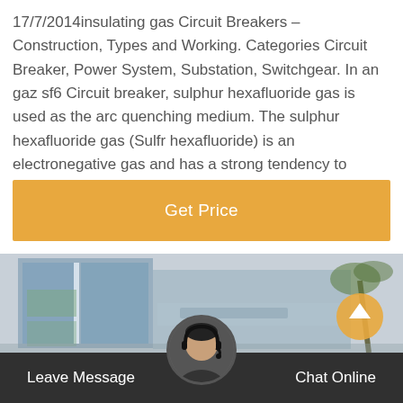17/7/2014insulating gas Circuit Breakers – Construction, Types and Working. Categories Circuit Breaker, Power System, Substation, Switchgear. In an gaz sf6 Circuit breaker, sulphur hexafluoride gas is used as the arc quenching medium. The sulphur hexafluoride gas (Sulfr hexafluoride) is an electronegative gas and has a strong tendency to absorb free electrons.
[Figure (other): Orange 'Get Price' button bar]
[Figure (photo): Blurred exterior photo of a multi-story commercial building with blue glass facade, palm tree on the right, and an orange circular icon on the right side]
Leave Message    Chat Online